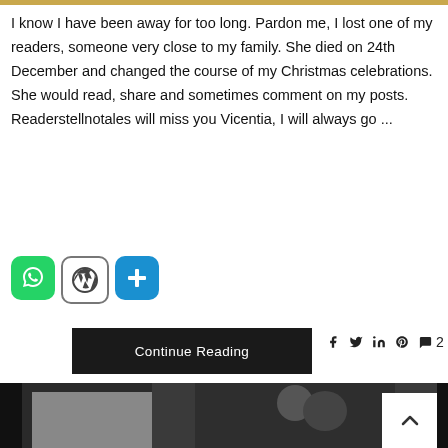I know I have been away for too long. Pardon me, I lost one of my readers, someone very close to my family. She died on 24th December and changed the course of my Christmas celebrations. She would read, share and sometimes comment on my posts. Readerstellnotales will miss you Vicentia, I will always go ...
[Figure (illustration): Three social media sharing icons: green WhatsApp icon, grey/white WordPress icon, and blue plus/share icon]
Continue Reading
f  y  in  P  💬 2
[Figure (photo): Dark-toned black and white photograph showing two people, partially visible, with a back-to-top arrow button overlay]